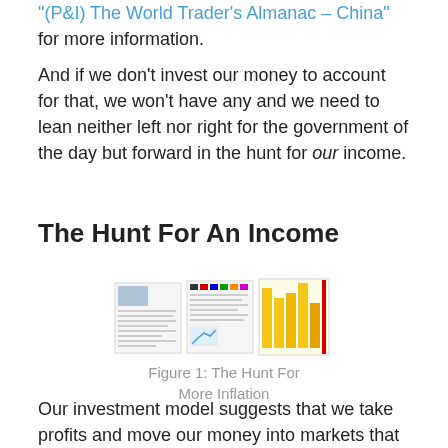"(P&I) The World Trader's Almanac – China" for more information.
And if we don't invest our money to account for that, we won't have any and we need to lean neither left nor right for the government of the day but forward in the hunt for our income.
The Hunt For An Income
[Figure (illustration): Collage of document pages showing The Hunt For More Inflation report pages with charts and tables]
Figure 1: The Hunt For More Inflation
Our investment model suggests that we take profits and move our money into markets that are "inflationary" with